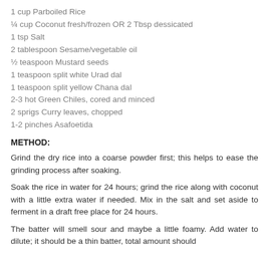1 cup Parboiled Rice
¼ cup Coconut fresh/frozen OR 2 Tbsp dessicated
1 tsp Salt
2 tablespoon Sesame/vegetable oil
½ teaspoon Mustard seeds
1 teaspoon split white Urad dal
1 teaspoon split yellow Chana dal
2-3 hot Green Chiles, cored and minced
2 sprigs Curry leaves, chopped
1-2 pinches Asafoetida
METHOD:
Grind the dry rice into a coarse powder first; this helps to ease the grinding process after soaking.
Soak the rice in water for 24 hours; grind the rice along with coconut with a little extra water if needed. Mix in the salt and set aside to ferment in a draft free place for 24 hours.
The batter will smell sour and maybe a little foamy. Add water to dilute; it should be a thin batter, total amount should